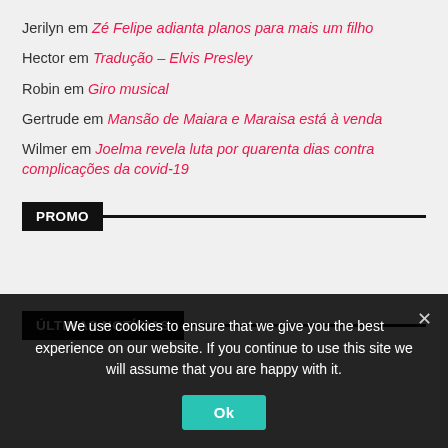Jerilyn em Zé Felipe adianta planos para mais um filho
Hector em Tradução – Elvis Presley
Robin em Giro musical
Gertrude em Mansão de Maiara e Maraisa está à venda
Wilmer em Joelma revela luta por quarenta dias contra complicações da covid-19
PROMO
ÚLTIMAS NOTÍCIAS
We use cookies to ensure that we give you the best experience on our website. If you continue to use this site we will assume that you are happy with it.